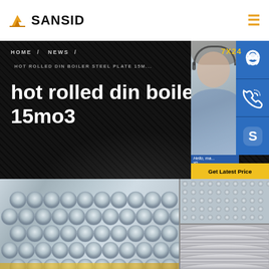SANSID
HOME / NEWS /
HOT ROLLED DIN BOILER STEEL PLATE 15M...
hot rolled din boiler st 15mo3
[Figure (photo): 7X24 customer service representative with headset smiling, alongside blue contact icon buttons (headset, phone, Skype) and a 'Get Latest Price' button]
[Figure (photo): Large industrial steel tube/pipe bundle in factory setting, with two smaller thumbnail images of steel mesh and steel pipes on the right side]